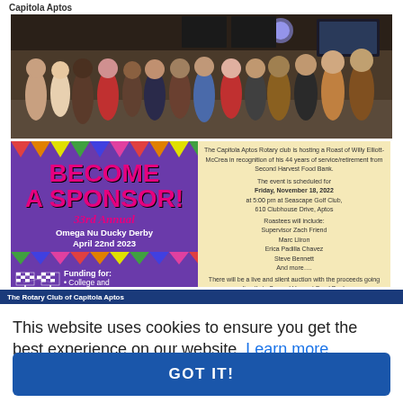Capitola Aptos
[Figure (photo): Group photo of Rotary club members posing together inside a restaurant/bar venue]
[Figure (infographic): Become A Sponsor! 33rd Annual Omega Nu Ducky Derby April 22nd 2023 flyer with purple background, pennant bunting, checkered flags, and funding information. Adjacent yellow panel with Rotary event text about Willy Elliott-McCrea roast.]
This website uses cookies to ensure you get the best experience on our website. Learn more
GOT IT!